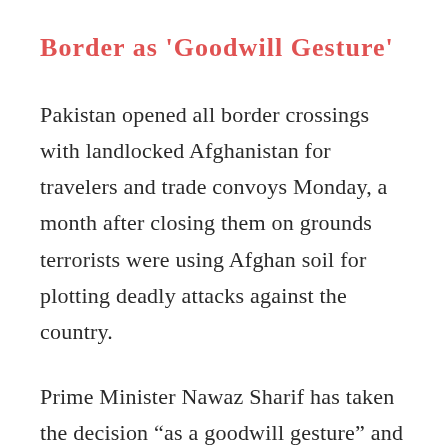Border as ‘Goodwill Gesture’
Pakistan opened all border crossings with landlocked Afghanistan for travelers and trade convoys Monday, a month after closing them on grounds terrorists were using Afghan soil for plotting deadly attacks against the country.
Prime Minister Nawaz Sharif has taken the decision “as a goodwill gesture” and hoped the Afghan